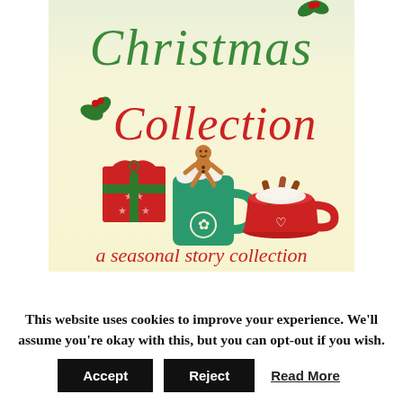[Figure (illustration): Book cover for 'Christmas Collection: a seasonal story collection'. Light cream/yellow background. 'Christmas' written in green decorative hand-lettered font at top with holly decoration. 'Collection' in red decorative hand-lettered font below. Three Christmas icons: a red gift box with bow, a green mug with gingerbread man and marshmallows, and a red bowl/cup with cinnamon sticks. Text 'a seasonal story collection' in red cursive font at bottom.]
This website uses cookies to improve your experience. We'll assume you're okay with this, but you can opt-out if you wish.
Accept
Reject
Read More